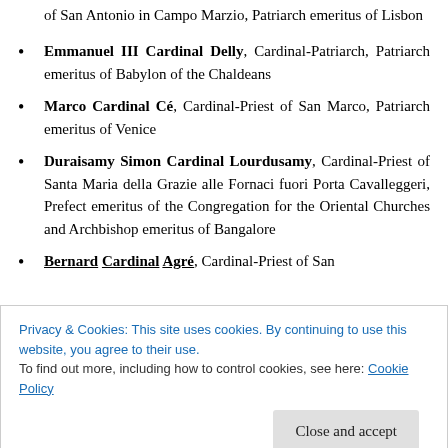of San Antonio in Campo Marzio, Patriarch emeritus of Lisbon
Emmanuel III Cardinal Delly, Cardinal-Patriarch, Patriarch emeritus of Babylon of the Chaldeans
Marco Cardinal Cé, Cardinal-Priest of San Marco, Patriarch emeritus of Venice
Duraisamy Simon Cardinal Lourdusamy, Cardinal-Priest of Santa Maria della Grazie alle Fornaci fuori Porta Cavalleggeri, Prefect emeritus of the Congregation for the Oriental Churches and Archbishop emeritus of Bangalore
Bernard Cardinal Agré, Cardinal-Priest of San...
Privacy & Cookies: This site uses cookies. By continuing to use this website, you agree to their use.
To find out more, including how to control cookies, see here: Cookie Policy
Edward Bede Cardinal Clancy, Cardinal-Priest